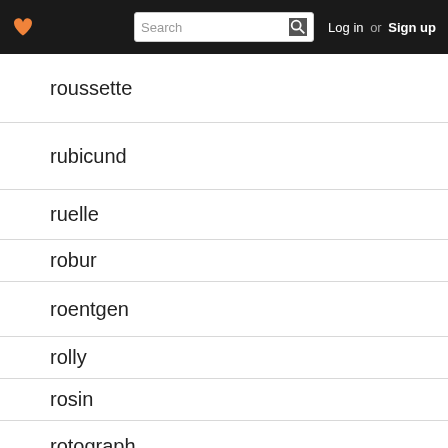Log in or Sign up
roussette
rubicund
ruelle
robur
roentgen
rolly
rosin
rotograph
rotula
roturier
rowen